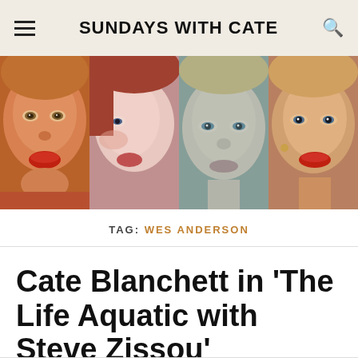SUNDAYS WITH CATE
[Figure (photo): A collage of four close-up portrait photos of Cate Blanchett from different films/appearances, arranged side by side. First: warm orange-toned close-up with red lips. Second: pale close-up with reddish hair. Third: cool-toned close-up with blonde hair and blue-green eyes. Fourth: warm-toned close-up with red lips and earring.]
TAG: WES ANDERSON
Cate Blanchett in 'The Life Aquatic with Steve Zissou'